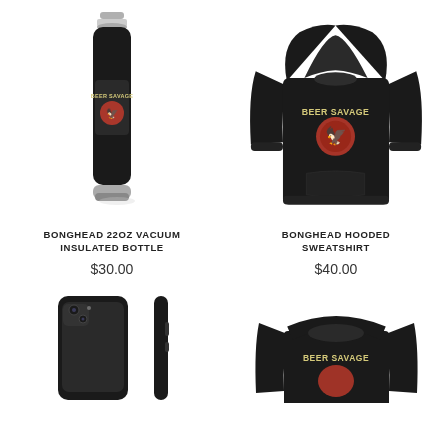[Figure (photo): Black vacuum insulated water bottle with Beer Savage logo graphic]
BONGHEAD 22OZ VACUUM INSULATED BOTTLE
$30.00
[Figure (photo): Black hooded sweatshirt with Beer Savage logo graphic on chest]
BONGHEAD HOODED SWEATSHIRT
$40.00
[Figure (photo): Black phone case shown from front and side angles]
[Figure (photo): Black crewneck sweatshirt with Beer Savage logo, partially visible]